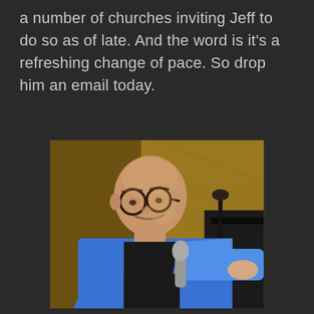a number of churches inviting Jeff to do so as of late. And the word is it's a refreshing change of pace. So drop him an email today.
[Figure (photo): A bald man wearing glasses and a bright blue blazer over a black shirt, leaning forward holding a microphone, photographed in front of a wooden wall background.]